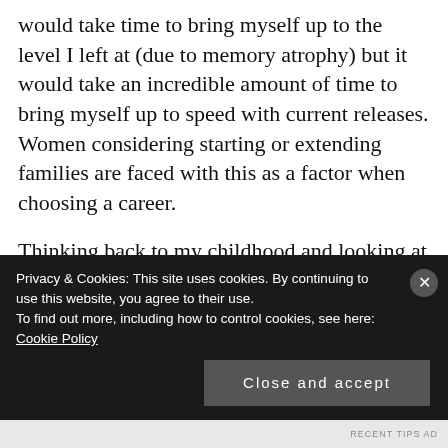would take time to bring myself up to the level I left at (due to memory atrophy) but it would take an incredible amount of time to bring myself up to speed with current releases. Women considering starting or extending families are faced with this as a factor when choosing a career.
Thinking back to my childhood and looking at my son, his friends and the children of my friends, boys are given and play with
Privacy & Cookies: This site uses cookies. By continuing to use this website, you agree to their use.
To find out more, including how to control cookies, see here: Cookie Policy
Close and accept